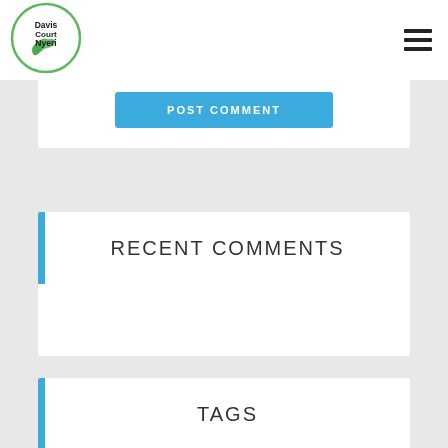[Figure (logo): Davis Court Nyeri logo — circular badge with green leaves and text]
Davis Court Nyeri [hamburger menu icon]
POST COMMENT
RECENT COMMENTS
TAGS
accommodation in nyeri  accommodation in nyeri kenya
best